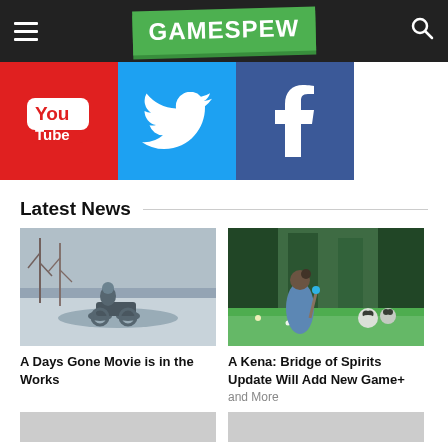GAMESPEW
[Figure (illustration): YouTube, Twitter, and Facebook social media icon buttons in a row]
Latest News
[Figure (photo): A motorcyclist riding through a snowy winter landscape - Days Gone]
A Days Gone Movie is in the Works
[Figure (photo): A character from Kena: Bridge of Spirits standing in a green forest with small creatures]
A Kena: Bridge of Spirits Update Will Add New Game+ and More